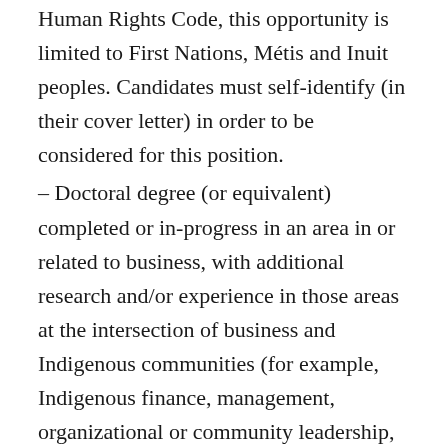Human Rights Code, this opportunity is limited to First Nations, Métis and Inuit peoples. Candidates must self-identify (in their cover letter) in order to be considered for this position.
– Doctoral degree (or equivalent) completed or in-progress in an area in or related to business, with additional research and/or experience in those areas at the intersection of business and Indigenous communities (for example, Indigenous finance, management, organizational or community leadership,